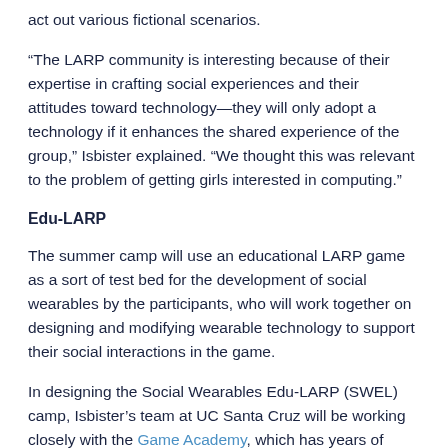act out various fictional scenarios.
“The LARP community is interesting because of their expertise in crafting social experiences and their attitudes toward technology—they will only adopt a technology if it enhances the shared experience of the group,” Isbister explained. “We thought this was relevant to the problem of getting girls interested in computing.”
Edu-LARP
The summer camp will use an educational LARP game as a sort of test bed for the development of social wearables by the participants, who will work together on designing and modifying wearable technology to support their social interactions in the game.
In designing the Social Wearables Edu-LARP (SWEL) camp, Isbister’s team at UC Santa Cruz will be working closely with the Game Academy, which has years of experience offering classes and summer camps involving role-playing games. The Game Academy will